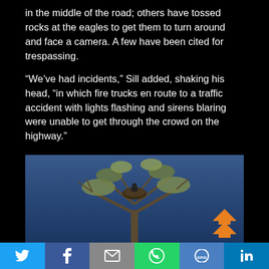in the middle of the road; others have tossed rocks at the eagles to get them to turn around and face a camera. A few have been cited for trespassing.
“We’ve had incidents,” Sill added, shaking his head, “in which fire trucks en route to a traffic accident with lights flashing and sirens blaring were unable to get through the crowd on the highway.”
[Figure (photo): A bird (eagle) sitting in a large nest at the top of a tree, photographed against a blue sky or water background. An orange upward-pointing arrow/chevron icon is overlaid in the bottom-right corner.]
Social sharing bar with Twitter, Facebook, Email, WhatsApp, SMS, LinkedIn buttons